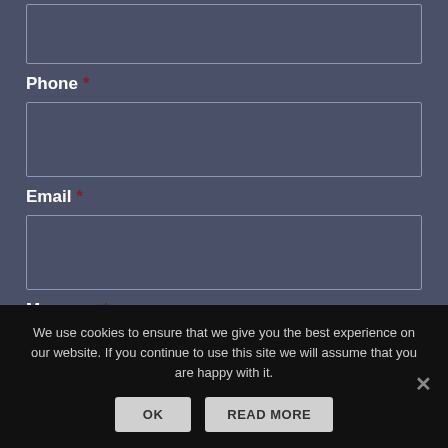Phone *
Email *
Message *
We use cookies to ensure that we give you the best experience on our website. If you continue to use this site we will assume that you are happy with it.